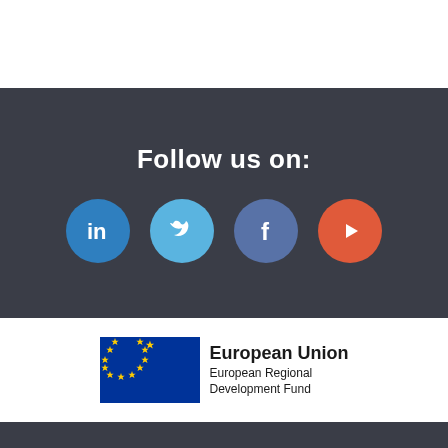Follow us on:
[Figure (infographic): Four social media icon circles: LinkedIn (blue), Twitter (light blue), Facebook (blue-grey), YouTube (red-orange)]
[Figure (logo): European Union European Regional Development Fund logo with EU flag (blue background with circle of gold stars)]